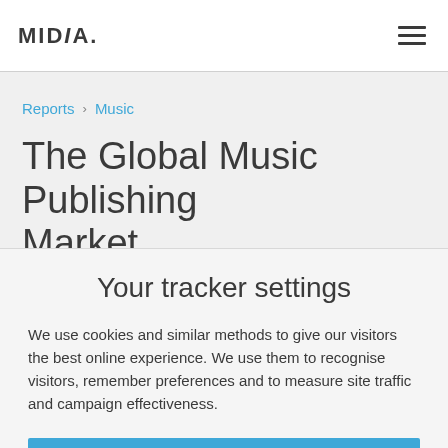MIDIA.
Reports › Music
The Global Music Publishing Market
Your tracker settings
We use cookies and similar methods to give our visitors the best online experience. We use them to recognise visitors, remember preferences and to measure site traffic and campaign effectiveness.
ACCEPT